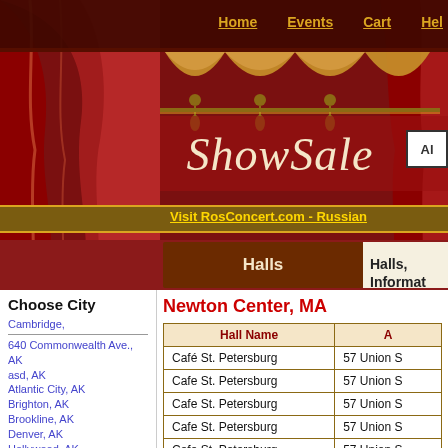[Figure (screenshot): Website header with red theater curtain background, navigation links (Home, Events, Cart, Help), ShowSale logo in italic serif font, yellow Visit RosConcert.com - Russian bar, and Halls navigation section]
Newton Center, MA
Choose City
Cambridge,
640 Commonwealth Ave., AK
asd, AK
Atlantic City, AK
Brighton, AK
Brookline, AK
Denver, AK
Hollywood, AK
klmj, AK
Los Angeles, AK
lynn, AK
mockba, AK
myphoneexplorer, AK
Natick, AK
New York, AK
sadas, AK
| Hall Name | A |
| --- | --- |
| Café St. Petersburg | 57 Union S |
| Cafe St. Petersburg | 57 Union S |
| Cafe St. Petersburg | 57 Union S |
| Cafe St. Petersburg | 57 Union S |
| Cafe St. Petersburg | 57 Union S |